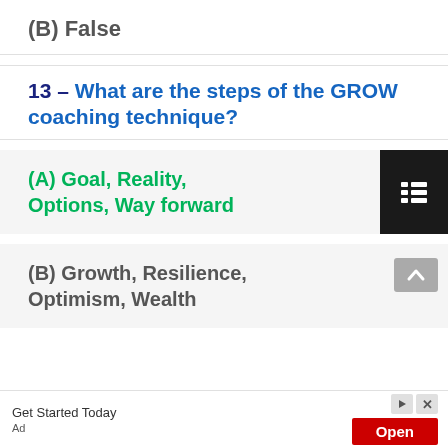(B) False
13 – What are the steps of the GROW coaching technique?
(A) Goal, Reality, Options, Way forward
(B) Growth, Resilience, Optimism, Wealth
Get Started Today
Ad